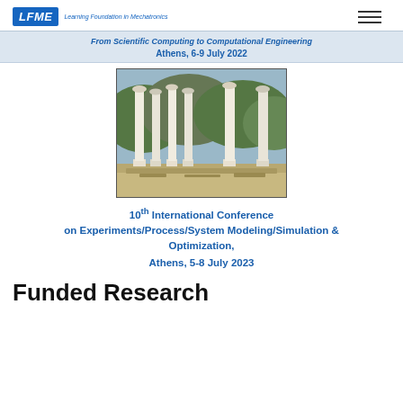LFME Learning Foundation in Mechatronics
From Scientific Computing to Computational Engineering
Athens, 6-9 July 2022
[Figure (photo): Photograph of ancient Greek columns (ruins) against a mountainous background, displayed in a rectangular frame.]
10th International Conference on Experiments/Process/System Modeling/Simulation & Optimization, Athens, 5-8 July 2023
Funded Research